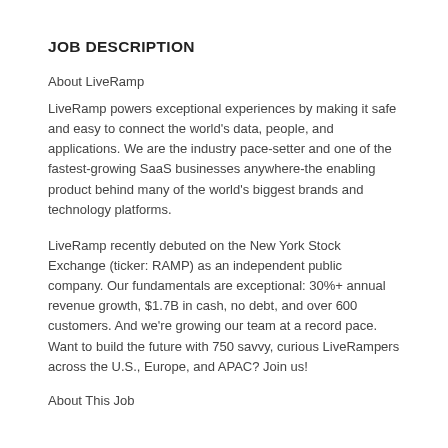JOB DESCRIPTION
About LiveRamp
LiveRamp powers exceptional experiences by making it safe and easy to connect the world's data, people, and applications. We are the industry pace-setter and one of the fastest-growing SaaS businesses anywhere-the enabling product behind many of the world's biggest brands and technology platforms.
LiveRamp recently debuted on the New York Stock Exchange (ticker: RAMP) as an independent public company. Our fundamentals are exceptional: 30%+ annual revenue growth, $1.7B in cash, no debt, and over 600 customers. And we're growing our team at a record pace. Want to build the future with 750 savvy, curious LiveRampers across the U.S., Europe, and APAC? Join us!
About This Job